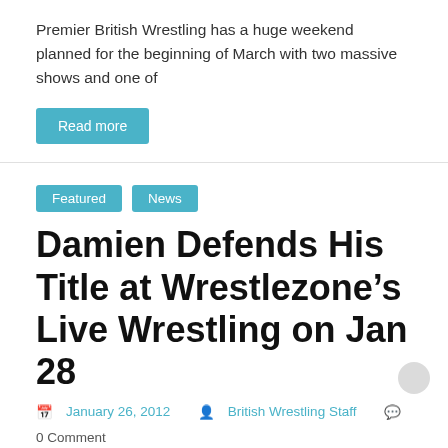Premier British Wrestling has a huge weekend planned for the beginning of March with two massive shows and one of
Read more
Featured   News
Damien Defends His Title at Wrestlezone's Live Wrestling on Jan 28
January 26, 2012   British Wrestling Staff   0 Comment
Scottish wrestling promotion Wrestlezone kickstart their 2012 wrestling action with their first event this weekend in Aberdeen this Saturday, January